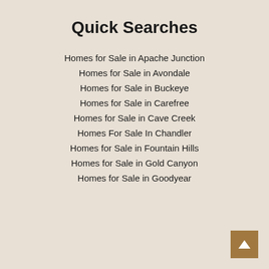Quick Searches
Homes for Sale in Apache Junction
Homes for Sale in Avondale
Homes for Sale in Buckeye
Homes for Sale in Carefree
Homes for Sale in Cave Creek
Homes For Sale In Chandler
Homes for Sale in Fountain Hills
Homes for Sale in Gold Canyon
Homes for Sale in Goodyear